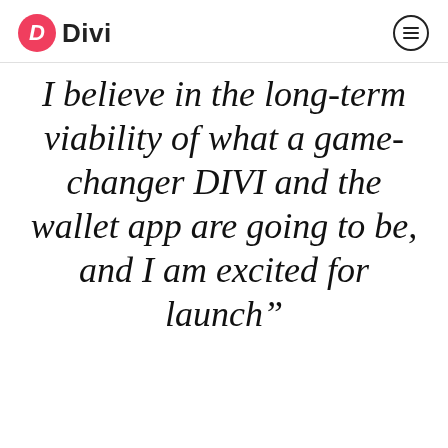Divi
I believe in the long-term viability of what a game-changer DIVI and the wallet app are going to be, and I am excited for launch”